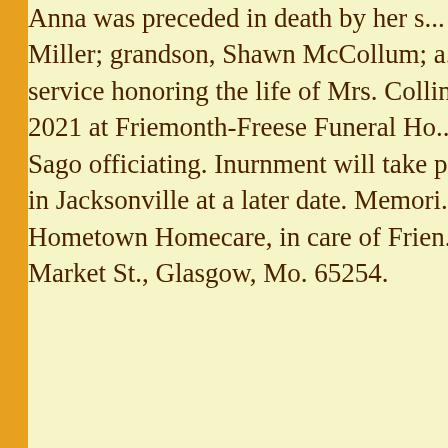Anna was preceded in death by her s... Miller; grandson, Shawn McCollum; a... service honoring the life of Mrs. Collins... 2021 at Friemonth-Freese Funeral Ho... Sago officiating. Inurnment will take pl... in Jacksonville at a later date. Memori... Hometown Homecare, in care of Frien... Market St., Glasgow, Mo. 65254.